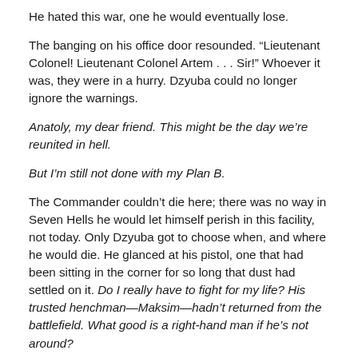He hated this war, one he would eventually lose.
The banging on his office door resounded. “Lieutenant Colonel! Lieutenant Colonel Artem . . . Sir!” Whoever it was, they were in a hurry. Dzyuba could no longer ignore the warnings.
Anatoly, my dear friend. This might be the day we’re reunited in hell.
But I’m still not done with my Plan B.
The Commander couldn’t die here; there was no way in Seven Hells he would let himself perish in this facility, not today. Only Dzyuba got to choose when, and where he would die. He glanced at his pistol, one that had been sitting in the corner for so long that dust had settled on it. Do I really have to fight for my life? His trusted henchman—Maksim—hadn’t returned from the battlefield. What good is a right-hand man if he’s not around?
“Lieutenant Colonel Artem, are you inside? Please open the door! This is urgent!” The voice on the other side sounded even more pressing. Dzyuba groaned internally.